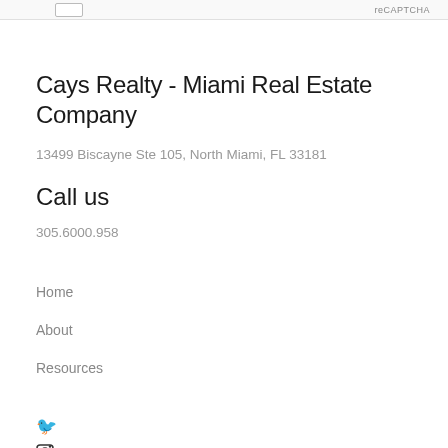reCAPTCHA
Cays Realty - Miami Real Estate Company
13499 Biscayne Ste 105, North Miami, FL 33181
Call us
305.6000.958
Home
About
Resources
[Figure (other): Social media icons: Twitter, Instagram, LinkedIn, Pinterest, and partial bottom bar with dark rectangle and two circular icons]